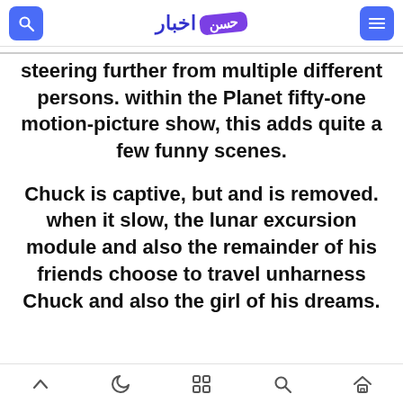اخبار [logo badge: حسن]
steering further from multiple different persons. within the Planet fifty-one motion-picture show, this adds quite a few funny scenes.
Chuck is captive, but and is removed. when it slow, the lunar excursion module and also the remainder of his friends choose to travel unharness Chuck and also the girl of his dreams.
^ crescent grid search home icons